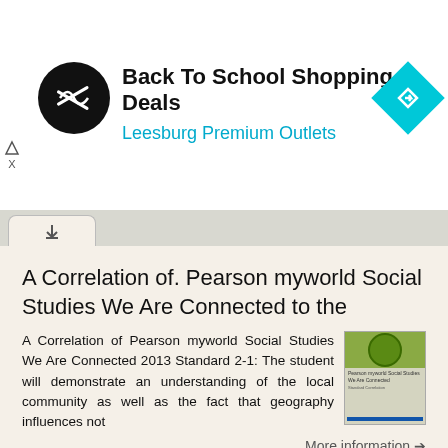[Figure (screenshot): Advertisement banner for Back To School Shopping Deals at Leesburg Premium Outlets with black circular logo and cyan diamond navigation icon]
Back To School Shopping Deals
Leesburg Premium Outlets
A Correlation of. Pearson myworld Social Studies We Are Connected to the
A Correlation of Pearson myworld Social Studies We Are Connected 2013 Standard 2-1: The student will demonstrate an understanding of the local community as well as the fact that geography influences not
More information →
GRADE 6 SOCIAL STUDIES SOCIAL STUDIES APPLICATION. SOCIAL STUDIES STANDARDS for Grade 6